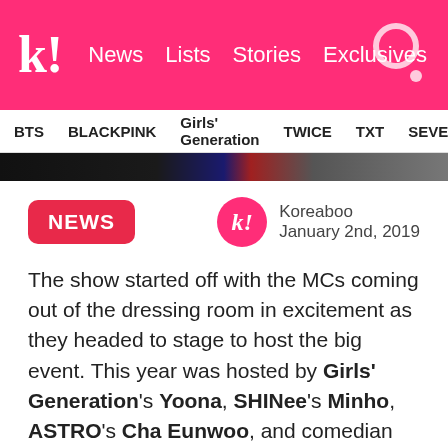k! News Lists Stories Exclusives
BTS BLACKPINK Girls' Generation TWICE TXT SEVE
[Figure (photo): Dark banner image strip showing partially visible group photo]
NEWS
Koreaboo January 2nd, 2019
The show started off with the MCs coming out of the dressing room in excitement as they headed to stage to host the big event. This year was hosted by Girls' Generation's Yoona, SHINee's Minho, ASTRO's Cha Eunwoo, and comedian Noh Hong Chul.
Yoona and Cha Eunwoo had an opening stage, in which they sang TVXQ!'s "Balloons" and then joined Noh Hong Chul and Minho for a hype